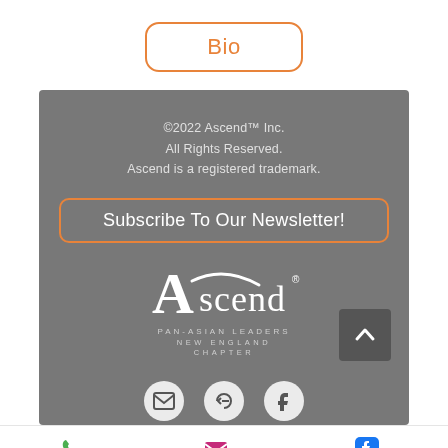Bio
©2022 Ascend™ Inc. All Rights Reserved. Ascend is a registered trademark.
Subscribe To Our Newsletter!
[Figure (logo): Ascend Pan-Asian Leaders New England Chapter logo in white on gray background]
Phone  Email  Facebook